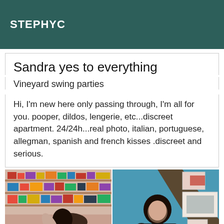STEPHYC
Sandra yes to everything
Vineyard swing parties
Hi, I'm new here only passing through, I'm all for you. pooper, dildos, lengerie, etc...discreet apartment. 24/24h...real photo, italian, portuguese, allegman, spanish and french kisses .discreet and serious.
[Figure (photo): Two photos of a woman: left photo shows her reclining on a red sofa wearing a beaded bodysuit with shelves in background; right photo shows her sitting on a red sofa in black outfit against blue/teal background with artwork on wall.]